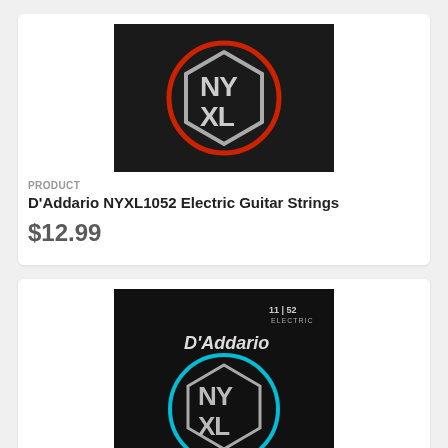[Figure (photo): D'Addario NYXL guitar strings product packaging image on black background with red circle and silver hexagon logo showing NYXL text]
PRODUCT
D'Addario NYXL1052 Electric Guitar Strings
$12.99
[Figure (photo): D'Addario NYXL guitar strings product packaging image on black background with blue circle and silver hexagon logo showing NYXL text, labeled 11/52 Electric]